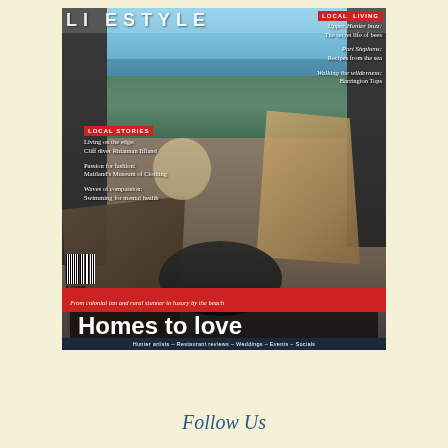[Figure (photo): Magazine cover of 'Lifestyle' publication showing an interior room with floor-to-ceiling windows overlooking a coastal scene with ocean and cliffs. The room features mid-century modern furniture including a wicker/wooden chair with fur throw, dark sofa, round black coffee table, and side table. Text overlays include story teasers and the main headline 'Homes to love'.]
Follow Us